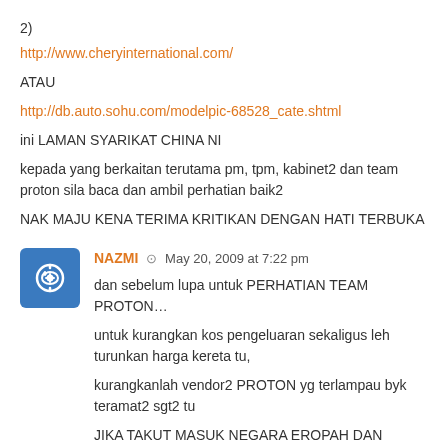2)
http://www.cheryinternational.com/
ATAU
http://db.auto.sohu.com/modelpic-68528_cate.shtml
ini LAMAN SYARIKAT CHINA NI
kepada yang berkaitan terutama pm, tpm, kabinet2 dan team proton sila baca dan ambil perhatian baik2
NAK MAJU KENA TERIMA KRITIKAN DENGAN HATI TERBUKA
NAZMI ⊙ May 20, 2009 at 7:22 pm
dan sebelum lupa untuk PERHATIAN TEAM PROTON…
untuk kurangkan kos pengeluaran sekaligus leh turunkan harga kereta tu,
kurangkanlah vendor2 PROTON yg terlampau byk teramat2 sgt2 tu
JIKA TAKUT MASUK NEGARA EROPAH DAN MAJU…